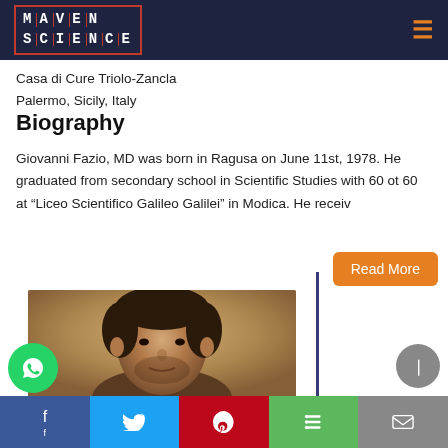MAVEN SCIENCE
Casa di Cure Triolo-Zancla
Palermo, Sicily, Italy
Biography
Giovanni Fazio, MD was born in Ragusa on June 11st, 1978. He graduated from secondary school in Scientific Studies with 60 ot 60 at “Liceo Scientifico Galileo Galilei” in Modica. He receiv
[Figure (photo): Portrait photo of Giovanni Fazio, MD, showing a man with short dark hair]
Read More